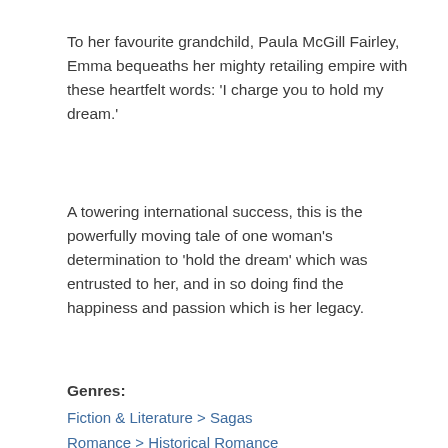To her favourite grandchild, Paula McGill Fairley, Emma bequeaths her mighty retailing empire with these heartfelt words: 'I charge you to hold my dream.'
A towering international success, this is the powerfully moving tale of one woman's determination to 'hold the dream' which was entrusted to her, and in so doing find the happiness and passion which is her legacy.
Genres:
Fiction & Literature > Sagas
Romance > Historical Romance
Similar Titles
[Figure (photo): Three book covers shown at bottom of page in a books row section]